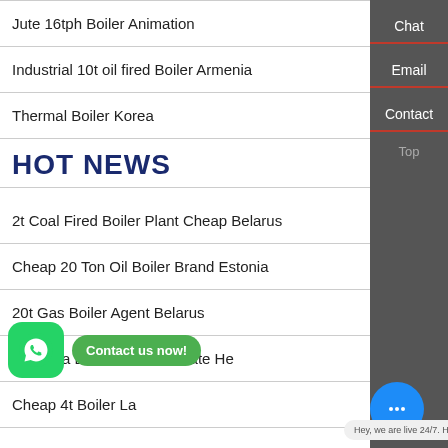Jute 16tph Boiler Animation
Industrial 10t oil fired Boiler Armenia
Thermal Boiler Korea
HOT NEWS
2t Coal Fired Boiler Plant Cheap Belarus
Cheap 20 Ton Oil Boiler Brand Estonia
20t Gas Boiler Agent Belarus
Lakdi Ka Boiler Kaise Chalate He
Cheap 4t Boiler La...
[Figure (screenshot): WhatsApp contact button with green icon and 'Contact us now!' button]
Hey, we are live 24/7. How may I help you?
Chat
Email
Contact
Top